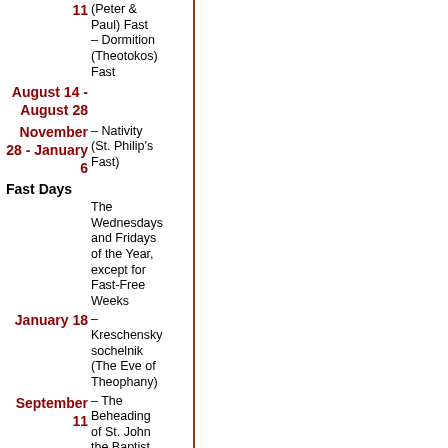11 (Peter & Paul) Fast – Dormition (Theotokos) Fast
August 14 - August 28
November 28 - January 6 – Nativity (St. Philip's Fast)
Fast Days
The Wednesdays and Fridays of the Year, except for Fast-Free Weeks
January 18 – Kreschensky sochelnik (The Eve of Theophany)
September 11 – The Beheading of St. John the Baptist
September 27 – The Elevation of the Cross
Traditional days of remembrance